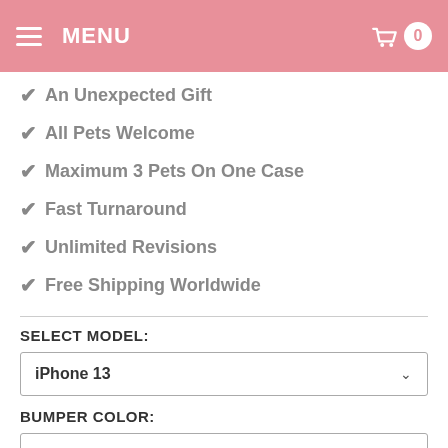MENU  0
✔ An Unexpected Gift
✔ All Pets Welcome
✔ Maximum 3 Pets On One Case
✔ Fast Turnaround
✔ Unlimited Revisions
✔ Free Shipping Worldwide
SELECT MODEL:
iPhone 13
BUMPER COLOR:
Black
NAMES / CUSTOM WORDS